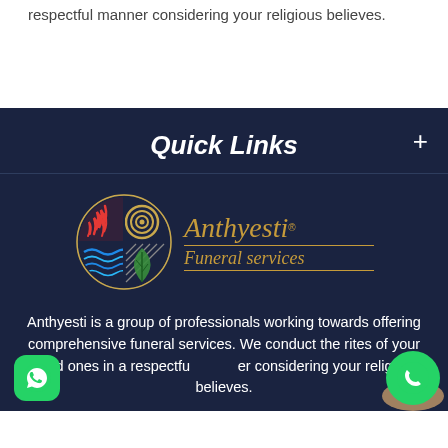respectful manner considering your religious believes.
Quick Links
[Figure (logo): Anthyesti Funeral Services logo with circular emblem divided into quadrants with flame, spiral, leaf, and wave symbols in red, gold/tan, green, and blue. Text reads 'Anthyesti Funeral services' in gold italic serif font with gold horizontal lines above and below the company name.]
Anthyesti is a group of professionals working towards offering comprehensive funeral services. We conduct the rites of your loved ones in a respectful manner considering your religious believes.